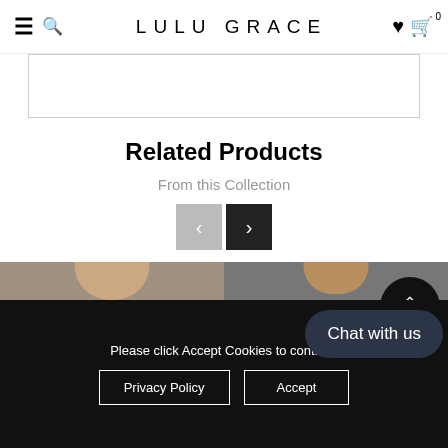LULU GRACE
Related Products
From this Collection
[Figure (photo): Two women wearing black t-shirts, shown from neck to mid-torso. Left shirt has a V-neck style, right shirt has a crew neck with a Maserati trident logo and 'My' text visible.]
Please click Accept Cookies to contin…
Chat with us
Privacy Policy
Accept